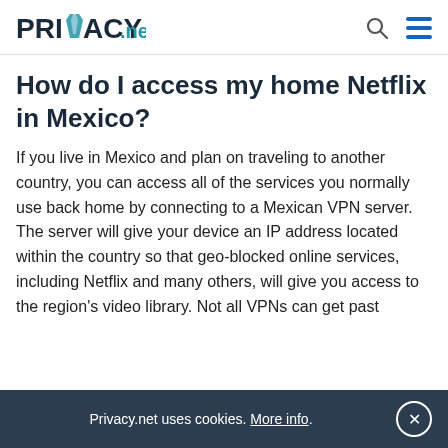PRIVACY.net
How do I access my home Netflix in Mexico?
If you live in Mexico and plan on traveling to another country, you can access all of the services you normally use back home by connecting to a Mexican VPN server. The server will give your device an IP address located within the country so that geo-blocked online services, including Netflix and many others, will give you access to the region's video library. Not all VPNs can get past
Privacy.net uses cookies. More info.